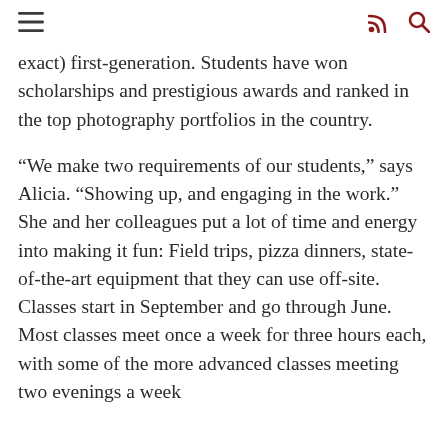[navigation icons: hamburger menu, RSS feed, search]
exact) first-generation. Students have won scholarships and prestigious awards and ranked in the top photography portfolios in the country.
“We make two requirements of our students,” says Alicia. “Showing up, and engaging in the work.” She and her colleagues put a lot of time and energy into making it fun: Field trips, pizza dinners, state-of-the-art equipment that they can use off-site. Classes start in September and go through June. Most classes meet once a week for three hours each, with some of the more advanced classes meeting two evenings a week